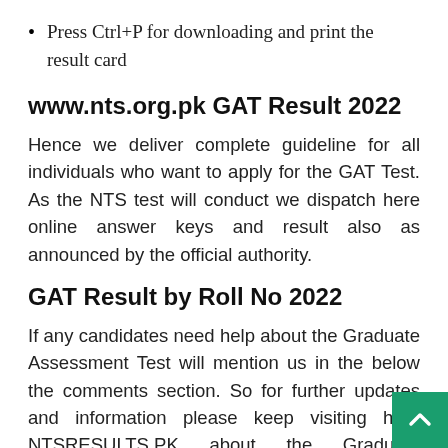Press Ctrl+P for downloading and print the result card
www.nts.org.pk GAT Result 2022
Hence we deliver complete guideline for all individuals who want to apply for the GAT Test. As the NTS test will conduct we dispatch here online answer keys and result also as announced by the official authority.
GAT Result by Roll No 2022
If any candidates need help about the Graduate Assessment Test will mention us in the below the comments section. So for further updates and information please keep visiting here NTSRESULTS.PK about the Graduate Assessment